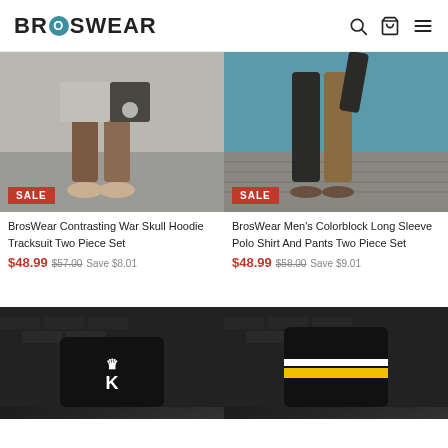BROSWEAR
[Figure (photo): Man wearing contrasting grey/black hoodie tracksuit shorts, athletic legs, sneakers, outdoor setting]
[Figure (photo): Man wearing colorblock long sleeve polo shirt and brown pants two piece set, near pool/water on wooden deck]
BrosWear Contrasting War Skull Hoodie Tracksuit Two Piece Set
$48.99 $57.00 Save $8.01
BrosWear Men's Colorblock Long Sleeve Polo Shirt And Pants Two Piece Set
$48.99 $58.00 Save $9.01
[Figure (photo): Man wearing black sweatshirt with crown and K graphic, against dark brick wall]
[Figure (photo): Man wearing black sweatshirt with yellow and white horizontal stripes, against dark brick wall]